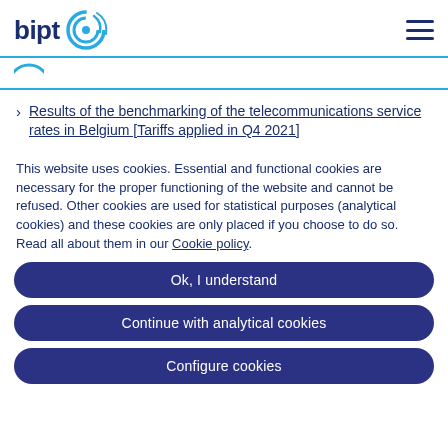bipt [logo]
Results of the benchmarking of the telecommunications service rates in Belgium [Tariffs applied in Q4 2021]
This website uses cookies. Essential and functional cookies are necessary for the proper functioning of the website and cannot be refused. Other cookies are used for statistical purposes (analytical cookies) and these cookies are only placed if you choose to do so. Read all about them in our Cookie policy.
Ok, I understand
Continue with analytical cookies
Configure cookies